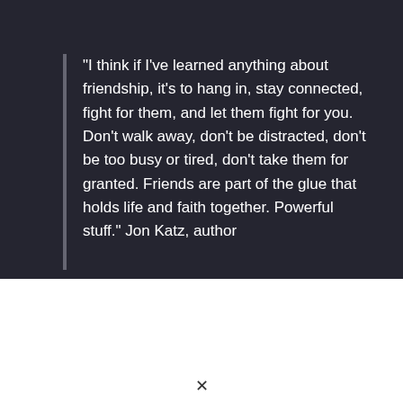"I think if I've learned anything about friendship, it's to hang in, stay connected, fight for them, and let them fight for you. Don't walk away, don't be distracted, don't be too busy or tired, don't take them for granted. Friends are part of the glue that holds life and faith together. Powerful stuff." Jon Katz, author